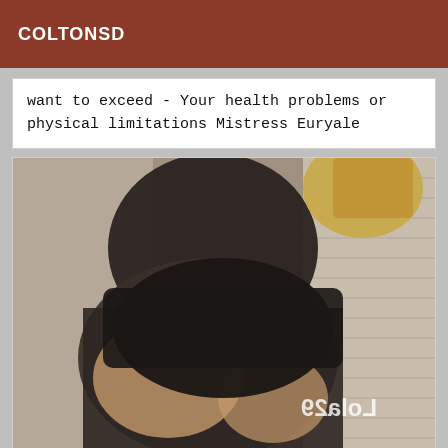COLTONSD
want to exceed - Your health problems or physical limitations Mistress Euryale
[Figure (photo): A person in a black outfit photographed from behind near a window with blinds. A watermark text 'Lola29' appears mirrored in the lower left area of the photo.]